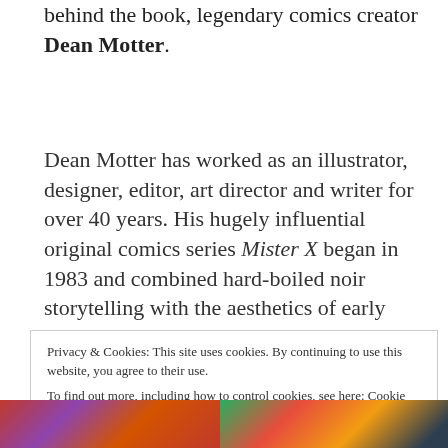behind the book, legendary comics creator Dean Motter.
Dean Motter has worked as an illustrator, designer, editor, art director and writer for over 40 years. His hugely influential original comics series Mister X began in 1983 and combined hard-boiled noir storytelling with the aesthetics of early 20th century futurism, by way of Fritz Lang's Metropolis and the Bauhaus movement.
Privacy & Cookies: This site uses cookies. By continuing to use this website, you agree to their use.
To find out more, including how to control cookies, see here: Cookie Policy
[Figure (photo): Colorful image strip at the bottom of the page showing two partial images side by side.]